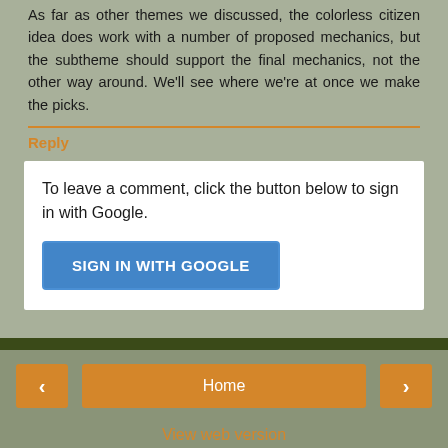As far as other themes we discussed, the colorless citizen idea does work with a number of proposed mechanics, but the subtheme should support the final mechanics, not the other way around. We'll see where we're at once we make the picks.
Reply
To leave a comment, click the button below to sign in with Google.
SIGN IN WITH GOOGLE
Home
View web version
Powered by Blogger.